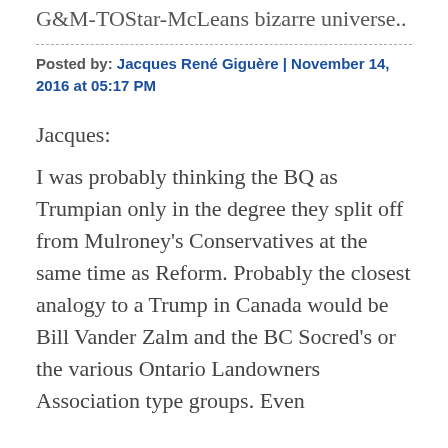G&M-TOStar-McLeans bizarre universe..
Posted by: Jacques René Giguère | November 14, 2016 at 05:17 PM
Jacques:
I was probably thinking the BQ as Trumpian only in the degree they split off from Mulroney's Conservatives at the same time as Reform. Probably the closest analogy to a Trump in Canada would be Bill Vander Zalm and the BC Socred's or the various Ontario Landowners Association type groups. Even